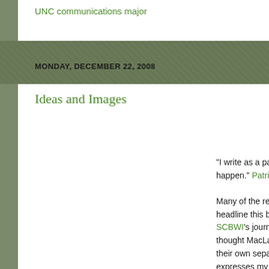UNC communications major
MONDAY, DECEMBER 22, 2008
Ideas and Images
"I write as a part... happen." Patrici...
Many of the rece... headline this blo... SCBWI's journa... thought MacLac... their own separa... expresses my fe... novel. Although ... my mind of the a... Dinsmore and L... characters, will e... their story will pl...